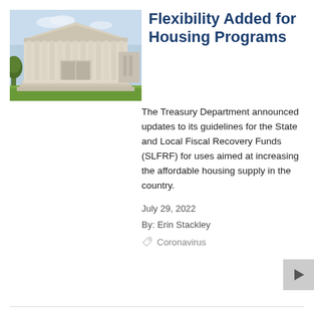[Figure (photo): Photograph of a large neoclassical government building (US Treasury Department) with columns and blue sky]
Flexibility Added for Housing Programs
The Treasury Department announced updates to its guidelines for the State and Local Fiscal Recovery Funds (SLFRF) for uses aimed at increasing the affordable housing supply in the country.
July 29, 2022
By: Erin Stackley
Coronavirus